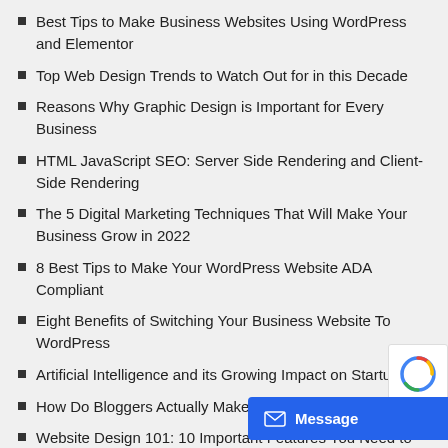Best Tips to Make Business Websites Using WordPress and Elementor
Top Web Design Trends to Watch Out for in this Decade
Reasons Why Graphic Design is Important for Every Business
HTML JavaScript SEO: Server Side Rendering and Client-Side Rendering
The 5 Digital Marketing Techniques That Will Make Your Business Grow in 2022
8 Best Tips to Make Your WordPress Website ADA Compliant
Eight Benefits of Switching Your Business Website To WordPress
Artificial Intelligence and its Growing Impact on Startups
How Do Bloggers Actually Make Money?
Website Design 101: 10 Important Features You Need to Include
Top 10 Software Testing Trends to Watch Out…